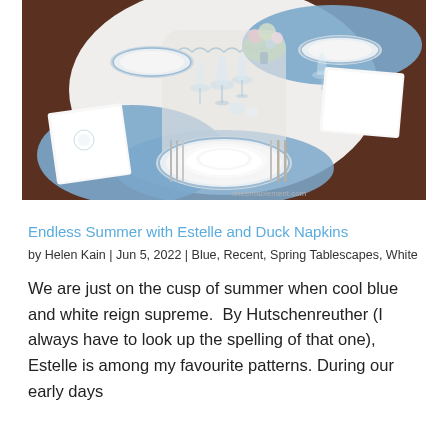[Figure (photo): Overhead view of a formal table setting with blue and white china plates, crystal glassware, silverware, embroidered white napkins, blue woven placemats, a white tablecloth, and a floral centerpiece.]
Endless Summer with Estelle and Duck Napkins
by Helen Kain | Jun 5, 2022 | Blue, Recent, Spring Tablescapes, White
We are just on the cusp of summer when cool blue and white reign supreme.  By Hutschenreuther (I always have to look up the spelling of that one), Estelle is among my favourite patterns. During our early days